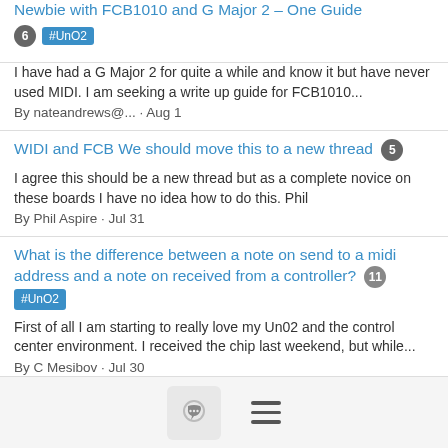Newbie with FCB1010 and G Major 2 – One Guide
6  #UnO2
I have had a G Major 2 for quite a while and know it but have never used MIDI. I am seeking a write up guide for FCB1010...
By nateandrews@... · Aug 1
WIDI and FCB We should move this to a new thread  5
I agree this should be a new thread but as a complete novice on these boards I have no idea how to do this. Phil
By Phil Aspire · Jul 31
What is the difference between a note on send to a midi address and a note on received from a controller?  11  #UnO2
First of all I am starting to really love my Un02 and the control center environment. I received the chip last weekend, but while...
By C Mesibov · Jul 30
[Figure (other): Footer bar with a chat bubble icon button and a hamburger menu icon]